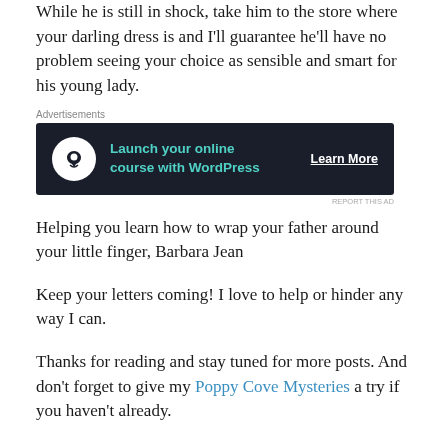While he is still in shock, take him to the store where your darling dress is and I'll guarantee he'll have no problem seeing your choice as sensible and smart for his young lady.
[Figure (other): Advertisement banner: dark background with tree/person icon, teal text 'Launch your online course with WordPress', and 'Learn More' button]
Helping you learn how to wrap your father around your little finger, Barbara Jean
Keep your letters coming! I love to help or hinder any way I can.
Thanks for reading and stay tuned for more posts. And don't forget to give my Poppy Cove Mysteries a try if you haven't already.